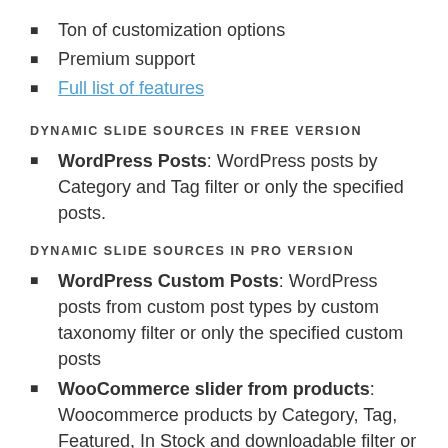Ton of customization options
Premium support
Full list of features
DYNAMIC SLIDE SOURCES IN FREE VERSION
WordPress Posts: WordPress posts by Category and Tag filter or only the specified posts.
DYNAMIC SLIDE SOURCES IN PRO VERSION
WordPress Custom Posts: WordPress posts from custom post types by custom taxonomy filter or only the specified custom posts
WooCommerce slider from products: Woocommerce products by Category, Tag, Featured, In Stock and downloadable filter or only the specified products.
NextGEN Gallery: displays the images and related